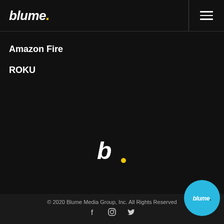blume.
Amazon Fire
ROKU
[Figure (logo): Blume logo mark — stylized lowercase b with yellow dot]
© 2020 Blume Media Group, Inc. All Rights Reserved
[Figure (logo): Blume circular badge logo in cyan/blue with white blume. text]